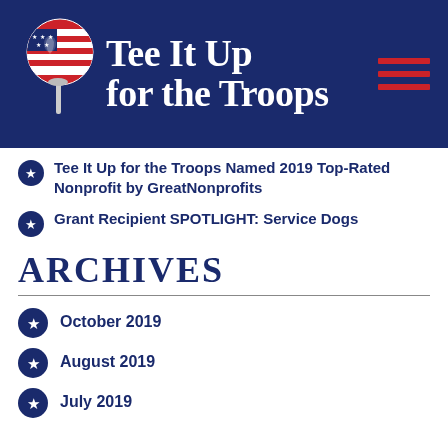[Figure (logo): Tee It Up for the Troops logo with circular American flag/soldier graphic on a dark blue banner, with red hamburger menu lines on the right]
Tee It Up for the Troops Named 2019 Top-Rated Nonprofit by GreatNonprofits
Grant Recipient SPOTLIGHT: Service Dogs
ARCHIVES
October 2019
August 2019
July 2019